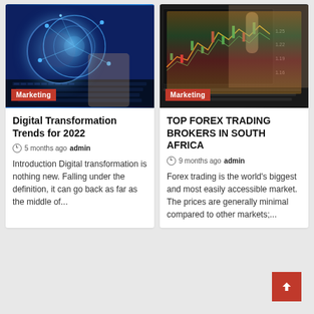[Figure (photo): Digital transformation tech image with blue keyboard and glowing network globe]
Marketing
Digital Transformation Trends for 2022
5 months ago  admin
Introduction Digital transformation is nothing new. Falling under the definition, it can go back as far as the middle of...
[Figure (photo): Forex trading screen with hand pointing at candlestick chart]
Marketing
TOP FOREX TRADING BROKERS IN SOUTH AFRICA
9 months ago  admin
Forex trading is the world's biggest and most easily accessible market. The prices are generally minimal compared to other markets;...